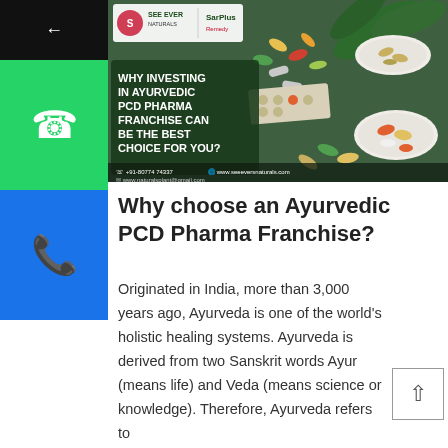[Figure (photo): Promotional banner image showing Ayurvedic pills, capsules, and herbs on a green background with text 'WHY INVESTING IN AYURVEDIC PCD PHARMA FRANCHISE CAN BE THE BEST CHOICE FOR YOU?' and logos for See Ever Naturals and SarPlus Remedy]
Why choose an Ayurvedic PCD Pharma Franchise?
Originated in India, more than 3,000 years ago, Ayurveda is one of the world's holistic healing systems. Ayurveda is derived from two Sanskrit words Ayur (means life) and Veda (means science or knowledge). Therefore, Ayurveda refers to the science of life/ knowledge about life and